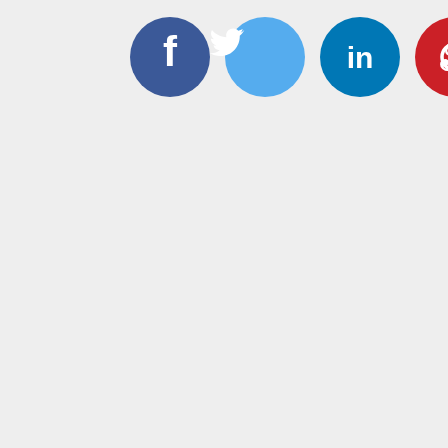[Figure (logo): Four social media icons in circles: Facebook (dark blue with white 'f'), Twitter (light blue with white bird), LinkedIn (dark blue with white 'in'), Pinterest (red with white 'p' pin logo), arranged in a horizontal row near the top of the page on a light grey background.]